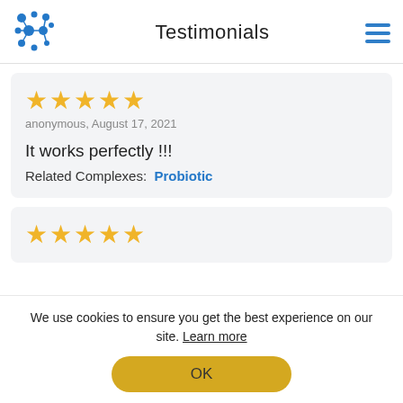Testimonials
★★★★★
anonymous, August 17, 2021

It works perfectly !!!

Related Complexes: Probiotic
★★★★★
We use cookies to ensure you get the best experience on our site. Learn more
OK